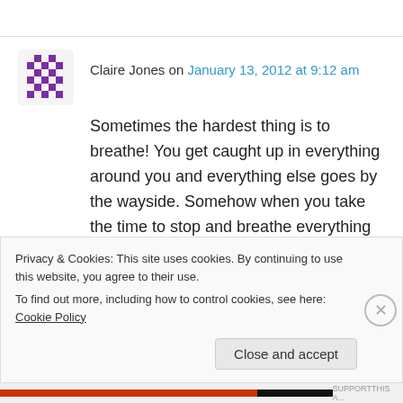Claire Jones on January 13, 2012 at 9:12 am
Sometimes the hardest thing is to breathe! You get caught up in everything around you and everything else goes by the wayside. Somehow when you take the time to stop and breathe everything becomes just that little bit better.
Privacy & Cookies: This site uses cookies. By continuing to use this website, you agree to their use. To find out more, including how to control cookies, see here: Cookie Policy
Close and accept